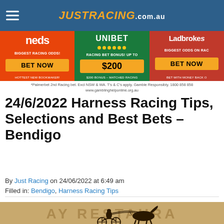JUSTRACING.com.au
[Figure (screenshot): Advertisement banner with three betting agencies: neds (orange, BIGGEST RACING ODDS! BET NOW, HOTTEST NEW BOOKMAKER!), UNIBET (green, RACING BET BONUS! UP TO $200, $200 BONUS - MATCHED RACING), Ladbrokes (red, BIGGEST ODDS ON RACING, BET NOW, BET WITH MONEY BACK)]
*Palmerbet 2nd Racing bet. Excl NSW & WA. T's & C's apply. Gamble Responsibly. 1800 858 858 www.gamblinghelponline.org.au
24/6/2022 Harness Racing Tips, Selections and Best Bets – Bendigo
By Just Racing on 24/06/2022 at 6:49 am
Filled in: Bendigo, Harness Racing Tips
[Figure (photo): Harness racing silhouette photo showing a jockey in a sulky being pulled by a horse against a warm sepia/golden background with partial text 'AY RESTAURA...' visible in the background]